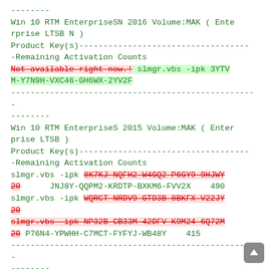--------
Win 10 RTM EnterpriseSN 2016 Volume:MAK ( Enterprise LTSB N )
Product Key(s)-----------------------------------Remaining Activation Counts
Not available right now.! slmgr.vbs -ipk 3YTVM-Y7N9H-VXC46-GH6WX-2YV2F
---------------------------------------------------
--------
Win 10 RTM EnterpriseS 2015 Volume:MAK ( Enterprise LTSB )
Product Key(s)-----------------------------------Remaining Activation Counts
slmgr.vbs -ipk 8K7KJ-NQFH2-W4GQ2-P6GY9-9HJWY 20 JNJ8Y-QQPM2-KRDTP-BXKM6-FVV2X    490
slmgr.vbs -ipk WQRCT-NRDV9-GTD3B-8BKFX-V22JY 20
slmgr.vbs -ipk NP32B-CB33M-42DFV-K9M24-6Q72M 20 P76N4-YPWHH-C7MCT-FYFYJ-WB48Y    415
---------------------------------------------------
--------
Win 10 RTM EnterpriseSN 2015 Volume:MAK (Enter...